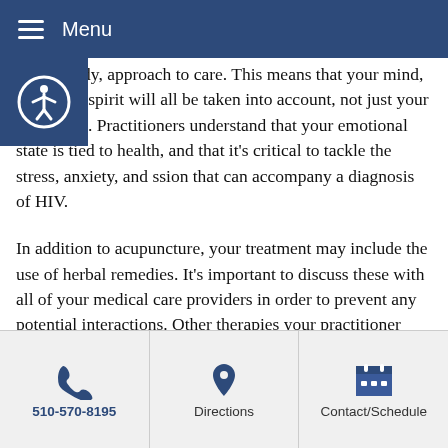Menu
[Figure (other): Accessibility icon button (person in circle) on dark blue background]
whole-body, approach to care. This means that your mind, body, and spirit will all be taken into account, not just your symptoms. Practitioners understand that your emotional state is tied to health, and that it's critical to tackle the stress, anxiety, and ssion that can accompany a diagnosis of HIV.
In addition to acupuncture, your treatment may include the use of herbal remedies. It's important to discuss these with all of your medical care providers in order to prevent any potential interactions. Other therapies your practitioner may recommend include diet and nutrition counseling, exercise programs and stress relief techniques to support your mind, body, and spirit.
During this challenging time, it's important to take as much control as you can over your health. By working with a team of medical care providers and incorporating acupuncture and TCM into your treatment, you'll be taking an important step toward
510-570-8195   Directions   Contact/Schedule